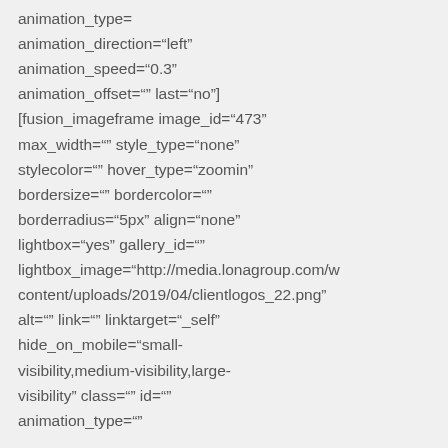animation_type= animation_direction="left" animation_speed="0.3" animation_offset="" last="no"] [fusion_imageframe image_id="473" max_width="" style_type="none" stylecolor="" hover_type="zoomin" bordersize="" bordercolor="" borderradius="5px" align="none" lightbox="yes" gallery_id="" lightbox_image="http://media.lonagroup.com/w content/uploads/2019/04/clientlogos_22.png" alt="" link="" linktarget="_self" hide_on_mobile="small-visibility,medium-visibility,large-visibility" class="" id="" animation_type=""